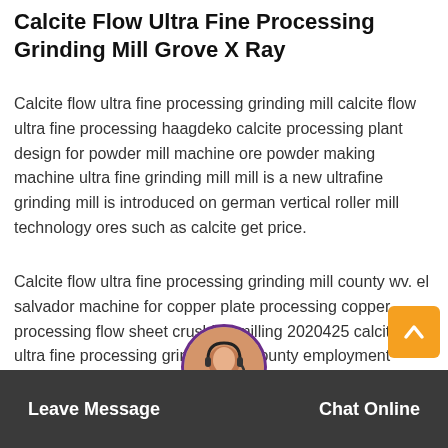Calcite Flow Ultra Fine Processing Grinding Mill Grove X Ray
Calcite flow ultra fine processing grinding mill calcite flow ultra fine processing haagdeko calcite processing plant design for powder mill machine ore powder making machine ultra fine grinding mill mill is a new ultrafine grinding mill is introduced on german vertical roller mill technology ores such as calcite get price.
Calcite flow ultra fine processing grinding mill county wv. el salvador machine for copper plate processing copper processing flow sheet crushing milling 2020425 calcite flow ultra fine processing grinding mill county employment morocco we are an experienced manufacturer of industrial crushing powder grinding and mineral processing equipment in asia the mai ent.
Leave Message   Chat Online